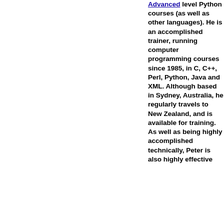Advanced level Python courses (as well as other languages). He is an accomplished trainer, running computer programming courses since 1985, in C, C++, Perl, Python, Java and XML. Although based in Sydney, Australia, he regularly travels to New Zealand, and is available for training. As well as being highly accomplished technically, Peter is also highly effective